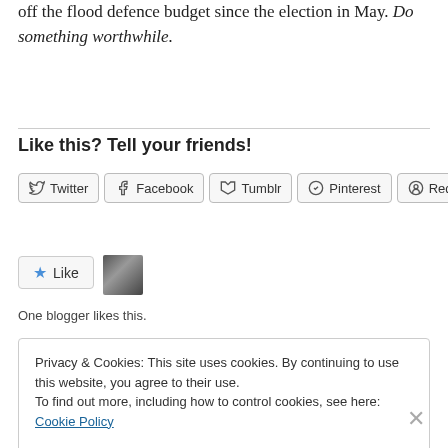off the flood defence budget since the election in May. Do something worthwhile.
Like this? Tell your friends!
Twitter  Facebook  Tumblr  Pinterest  Reddit
Like  [avatar]
One blogger likes this.
Privacy & Cookies: This site uses cookies. By continuing to use this website, you agree to their use. To find out more, including how to control cookies, see here: Cookie Policy  Close and accept